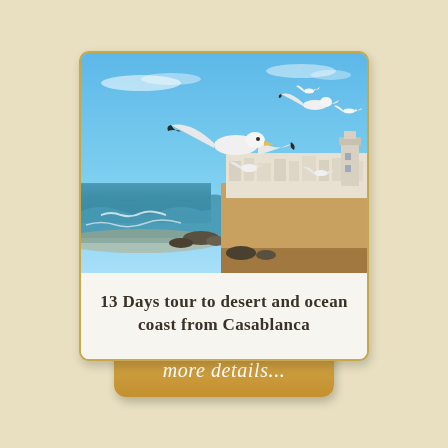[Figure (photo): Seagulls flying over the ocean coastline with white-walled Moroccan city (Essaouira) in the background, blue sky and waves crashing on rocky shore]
13 Days tour to desert and ocean coast from Casablanca
more details...